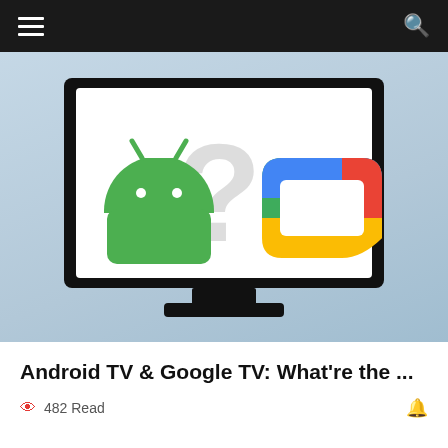≡  🔍
[Figure (illustration): A TV monitor displaying the Android robot logo (green) on the left and the Google TV logo (colorful rounded square) on the right, with a large grey question mark in the background center. The TV sits on a stand against a light blue-grey gradient background.]
Android TV & Google TV: What're the ...
👁 482 Read